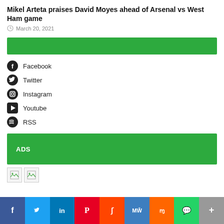Mikel Arteta praises David Moyes ahead of Arsenal vs West Ham game
March 20, 2021
[Figure (other): Green advertisement banner bar]
Facebook
Twitter
Instagram
Youtube
RSS
[Figure (other): Green ADS bar with white text]
[Figure (other): Two broken image placeholders]
[Figure (other): Social media share bar at bottom: Facebook, Twitter, LinkedIn, Pinterest, Reddit, MeWe, Mix, WhatsApp, More]